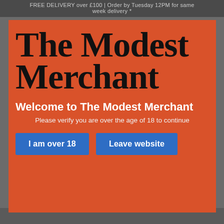FREE DELIVERY over £100 | Order by Tuesday 12PM for same week delivery *
The Modest Merchant
Welcome to The Modest Merchant
Please verify you are over the age of 18 to continue
I am over 18
Leave website